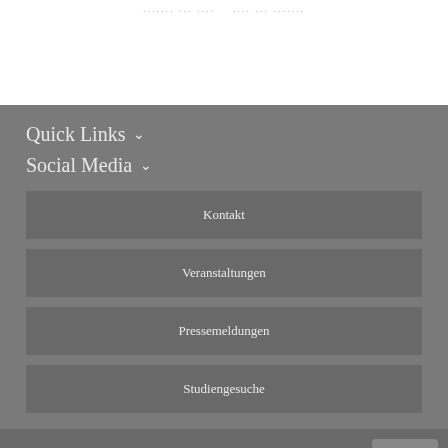......  ...  ....    ....  ...  ......
Quick Links ∨
Social Media ∨
Kontakt
Veranstaltungen
Pressemeldungen
Studiengesuche
Max Planck Gesellschaft   TOP